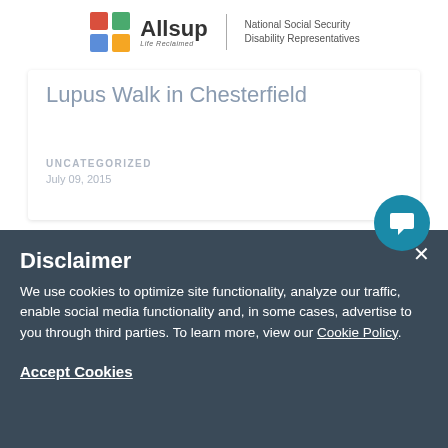Allsup | National Social Security Disability Representatives
Lupus Walk in Chesterfield
UNCATEGORIZED
July 09, 2015
Disclaimer
We use cookies to optimize site functionality, analyze our traffic, enable social media functionality and, in some cases, advertise to you through third parties. To learn more, view our Cookie Policy.
Accept Cookies